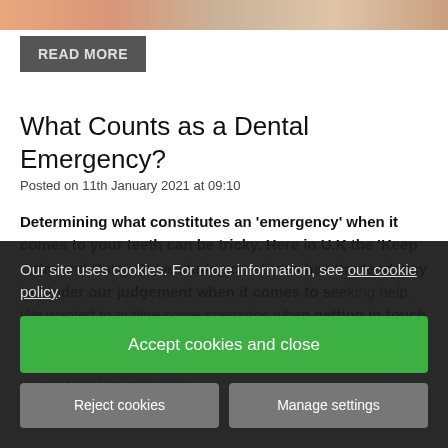[Figure (photo): Top cropped photo strip showing what appears to be teeth or food items in warm orange/peach tones]
READ MORE
What Counts as a Dental Emergency?
Posted on 11th January 2021 at 09:10
Determining what constitutes an 'emergency' when it comes to your teeth can be tricky. Here in U.K the 'Keep Calm and Carry On' attitude sometimes has the tendency to hinder our judgement when it comes to seeking help. We wanted to outline some scenarios when getting in touch with your dentist urgently is vital to your immediate health and wellbeing. Below are some of the situations that warrant emergency care.
Our site uses cookies. For more information, see our cookie policy.
Accept cookies and close
Reject cookies
Manage settings